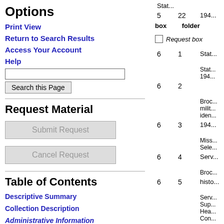Options
Print View
Return to Search Results
Access Your Account
Help
Request Material
Submit Request
Cancel Request
Table of Contents
Descriptive Summary
Collection Description
Administrative Information
| box | folder | Stat... |
| --- | --- | --- |
| 5 | 22 | 194... |
|  |  | Request box |
| 6 | 1 | Stat... |
| 6 | 2 | Stat... 194... |
| 6 | 3 | Broc... milit... iden... 194... |
| 6 | 4 | Miss... Sele... Serv... |
| 6 | 5 | Broc... histo... |
| 6 | 6 | Serv... Sup... Hea... Con... 194... |
| 6 | 7 | Form... |